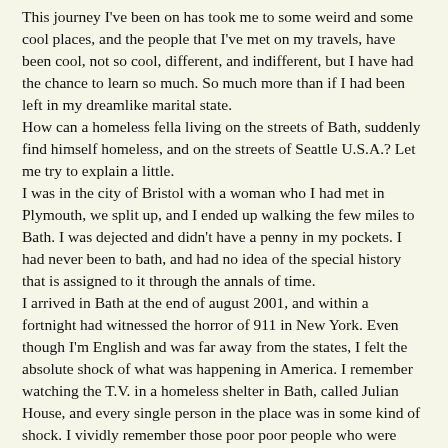This journey I've been on has took me to some weird and some cool places, and the people that I've met on my travels, have been cool, not so cool, different, and indifferent, but I have had the chance to learn so much. So much more than if I had been left in my dreamlike marital state. How can a homeless fella living on the streets of Bath, suddenly find himself homeless, and on the streets of Seattle U.S.A.? Let me try to explain a little. I was in the city of Bristol with a woman who I had met in Plymouth, we split up, and I ended up walking the few miles to Bath. I was dejected and didn't have a penny in my pockets. I had never been to bath, and had no idea of the special history that is assigned to it through the annals of time. I arrived in Bath at the end of august 2001, and within a fortnight had witnessed the horror of 911 in New York. Even though I'm English and was far away from the states, I felt the absolute shock of what was happening in America. I remember watching the T.V. in a homeless shelter in Bath, called Julian House, and every single person in the place was in some kind of shock. I vividly remember those poor poor people who were faced with the only option available to them? Jump, or burn!! That day made an impression on not only the U.S. but everyone in the Christian based...